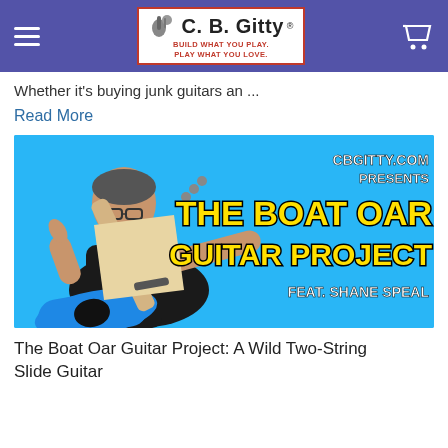C. B. Gitty® — BUILD WHAT YOU PLAY. PLAY WHAT YOU LOVE.
Whether it's buying junk guitars an ...
Read More
[Figure (photo): Promotional image for The Boat Oar Guitar Project featuring a man holding a boat-oar shaped guitar giving thumbs up, with text overlay: CBGITTY.COM PRESENTS THE BOAT OAR GUITAR PROJECT FEAT. SHANE SPEAL, on a blue background]
The Boat Oar Guitar Project: A Wild Two-String Slide Guitar